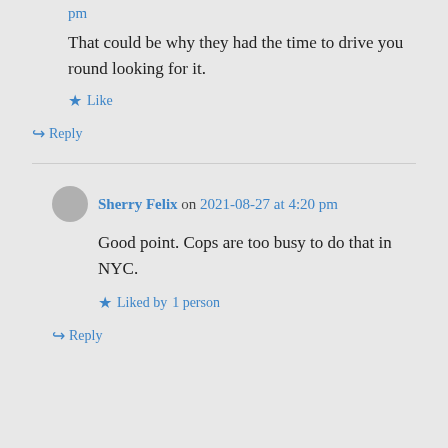pm
That could be why they had the time to drive you round looking for it.
★ Like
↪ Reply
Sherry Felix on 2021-08-27 at 4:20 pm
Good point. Cops are too busy to do that in NYC.
★ Liked by 1 person
↪ Reply